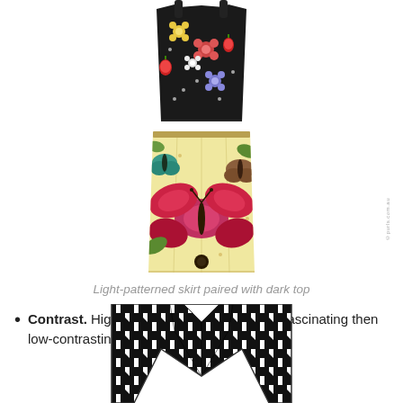[Figure (illustration): Floral camisole top with dark background, spaghetti straps, featuring flowers and strawberries pattern]
[Figure (illustration): Light yellow pencil skirt with butterfly and insect print pattern]
Light-patterned skirt paired with dark top
Contrast. High contrast objects look more fascinating then low-contrasting ones.
[Figure (illustration): Black and white houndstooth pattern blazer/jacket, partially visible at bottom of page]